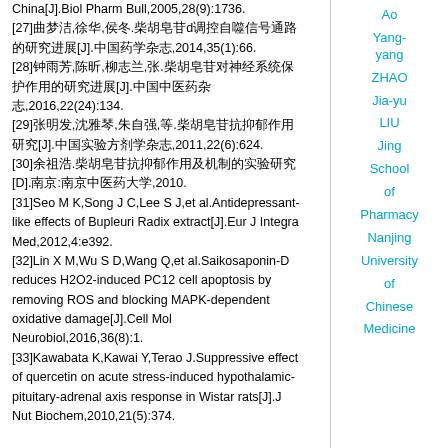China[J].Biol Pharm Bull,2005,28(9):1736.
[27]...d...[J]....,2014,35(1):66.
[28]...,...,...,.[J]....,2016,22(24):134.
[29]...,...,...,.[J]....,2011,22(6):624.
[30].....[D].:..,2010.
[31]Seo M K,Song J C,Lee S J,et al.Antidepressant-like effects of Bupleuri Radix extract[J].Eur J Integra Med,2012,4:e392.
[32]Lin X M,Wu S D,Wang Q,et al.Saikosaponin-D reduces H2O2-induced PC12 cell apoptosis by removing ROS and blocking MAPK-dependent oxidative damage[J].Cell Mol Neurobiol,2016,36(8):1.
[33]Kawabata K,Kawai Y,Terao J.Suppressive effect of quercetin on acute stress-induced hypothalamic-pituitary-adrenal axis response in Wistar rats[J].J Nut Biochem,2010,21(5):374.
Ao Yang-yang ZHAO Jia-yu LIU Jing School of Pharmacy Nanjing University of Chinese Medicine